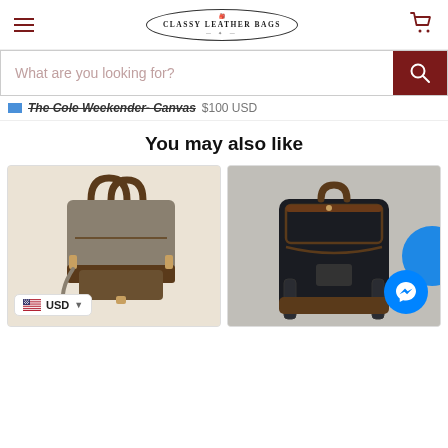[Figure (logo): Classy Leather Bags logo — oval border with leather bag icon above text, title 'CLASSY LEATHER BAGS' in serif caps]
What are you looking for?
The Cole Weekender- Canvas $100 USD
You may also like
[Figure (photo): Brown canvas weekender bag with leather handles and trim, front pocket clasp, cream background]
[Figure (photo): Dark navy/black canvas backpack with brown leather trim and zippers, partially cropped on right side of page]